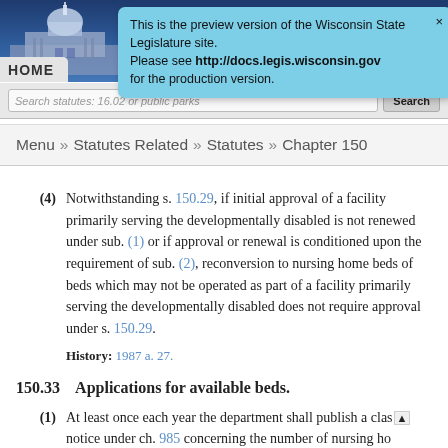Wisconsin State Legislature website header with capitol building image and HOME navigation tab
This is the preview version of the Wisconsin State Legislature site. Please see http://docs.legis.wisconsin.gov for the production version.
Search statutes: 16.02 or public parks  Search
Menu » Statutes Related » Statutes » Chapter 150
(4) Notwithstanding s. 150.29, if initial approval of a facility primarily serving the developmentally disabled is not renewed under sub. (1) or if approval or renewal is conditioned upon the requirement of sub. (2), reconversion to nursing home beds of beds which may not be operated as part of a facility primarily serving the developmentally disabled does not require approval under s. 150.29.
History: 1987 a. 27.
150.33   Applications for available beds.
(1) At least once each year the department shall publish a class 3 notice under ch. 985 concerning the number of nursing home beds available in facilities in each region in the